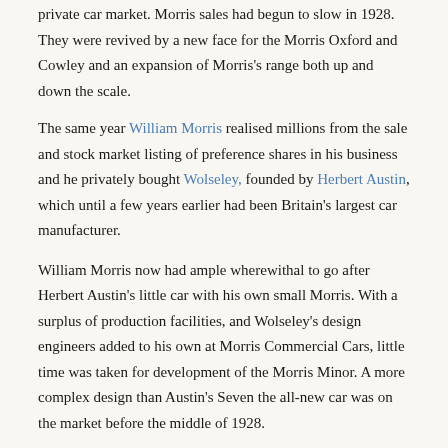private car market. Morris sales had begun to slow in 1928. They were revived by a new face for the Morris Oxford and Cowley and an expansion of Morris's range both up and down the scale.
The same year William Morris realised millions from the sale and stock market listing of preference shares in his business and he privately bought Wolseley, founded by Herbert Austin, which until a few years earlier had been Britain's largest car manufacturer.
William Morris now had ample wherewithal to go after Herbert Austin's little car with his own small Morris. With a surplus of production facilities, and Wolseley's design engineers added to his own at Morris Commercial Cars, little time was taken for development of the Morris Minor. A more complex design than Austin's Seven the all-new car was on the market before the middle of 1928.
Mechanicals
Engine